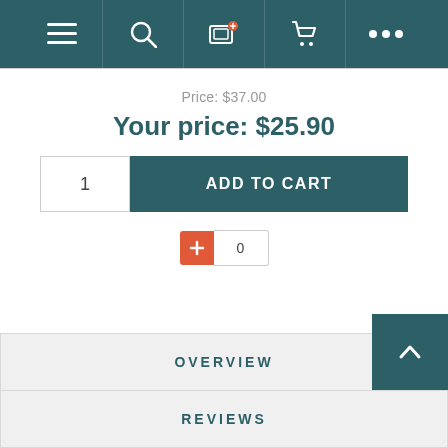[Figure (screenshot): Navigation bar with teal background containing hamburger menu, search, computer-plus, cart, and ellipsis icons]
Price: $37.00
Your price: $25.90
1   ADD TO CART
+ 0
OVERVIEW
REVIEWS